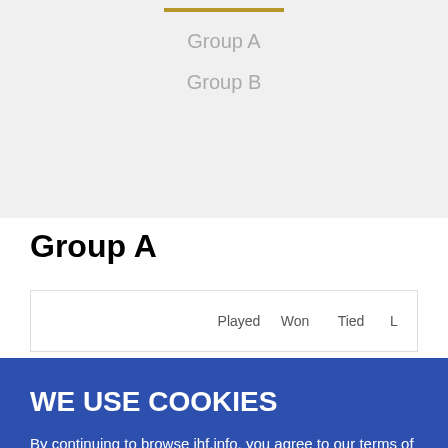[Figure (screenshot): Navigation dropdown with gold top bar and two gray links: Group A and Group B on a light gray background]
Group A
| Played | Won | Tied | L |
| --- | --- | --- | --- |
WE USE COOKIES
By continuing to browse ihf.info, you agree to our terms of use , privacy policy and the use of cookies. For more information, please review our cookie policy.
✓ I Accept